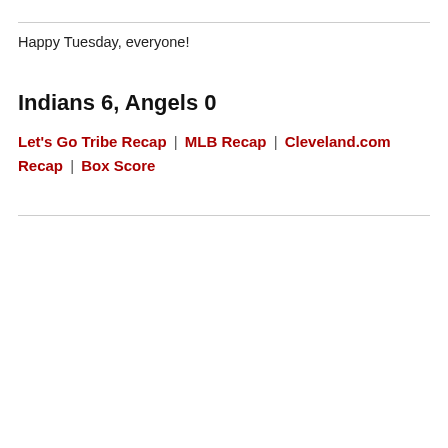Happy Tuesday, everyone!
Indians 6, Angels 0
Let's Go Tribe Recap | MLB Recap | Cleveland.com Recap | Box Score